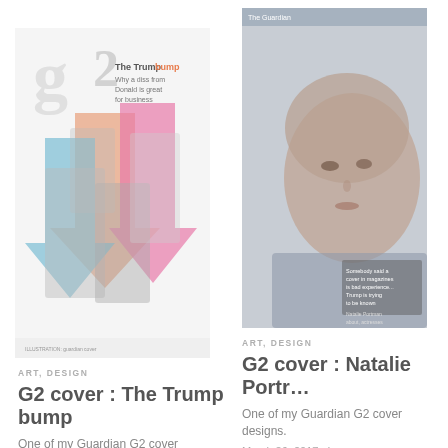[Figure (illustration): G2 magazine cover: The Trump bump. Features upward arrows in orange, blue, pink with figures including Trump and others. The Guardian G2 cover design.]
ART, DESIGN
G2 cover : The Trump bump
One of my Guardian G2 cover designs.
[Figure (photo): G2 magazine cover featuring Natalie Portman portrait photo, close-up face, with text overlay about Trump.]
ART, DESIGN
G2 cover : Natalie Portr…
One of my Guardian G2 cover designs.
March 26, 2017 · Leave a com…